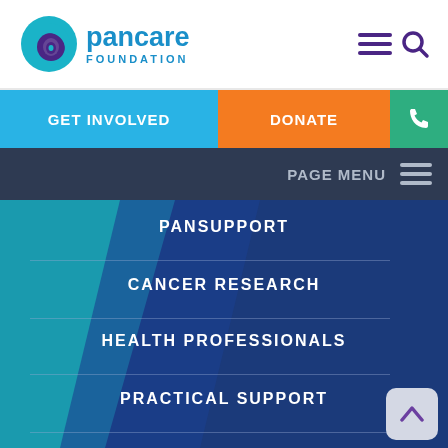[Figure (logo): Pancare Foundation logo with teal/purple circular icon and pancare FOUNDATION text in blue]
pancare FOUNDATION
GET INVOLVED
DONATE
PAGE MENU
PANSUPPORT
CANCER RESEARCH
HEALTH PROFESSIONALS
PRACTICAL SUPPORT